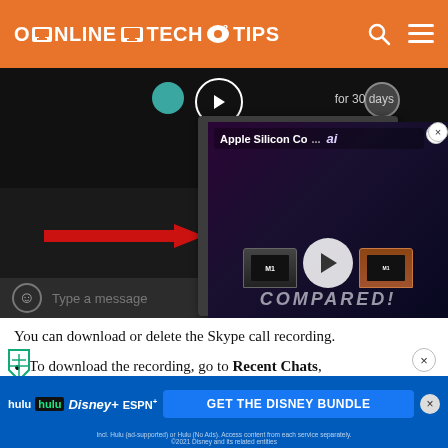ONLINE TECH TIPS
[Figure (screenshot): Screenshot of a Skype chat with a context menu open showing options: Save to Downloads, Save as..., Forward, Add bookmark, Select Media Message, Remove. A red arrow points to the Forward option. An overlay ad for Apple Silicon comparison video is visible. The message bar at the bottom shows a smiley icon and Type a message placeholder.]
You can download or delete the Skype call recording.
To download the recording, go to Recent Chats, select the recording, and right-click on the recording.
[Figure (screenshot): Disney Bundle advertisement banner showing Hulu, Disney+, and ESPN+ logos with a GET THE DISNEY BUNDLE call to action button and fine print text.]